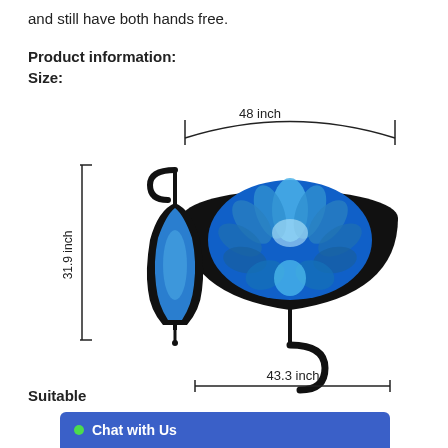and still have both hands free.
Product information:
Size:
[Figure (photo): Product diagram of an inverted umbrella showing dimensions: 48 inch canopy width, 43.3 inch base width, 31.9 inch folded height. The open umbrella shows a blue flower pattern on a black background with a C-shaped handle. A smaller image shows the umbrella folded.]
Suitable
Chat with Us